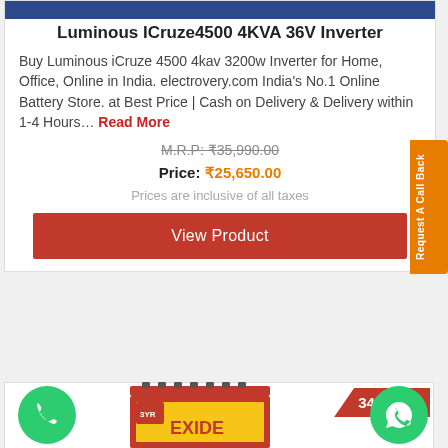[Figure (photo): Blue textured top bar representing product image]
Luminous ICruze4500 4KVA 36V Inverter
Buy Luminous iCruze 4500 4kav 3200w Inverter for Home, Office, Online in India. electrovery.com India's No.1 Online Battery Store. at Best Price | Cash on Delivery & Delivery within 1-4 Hours... Read More
M.R.P: ₹35,990.00
Price: ₹25,650.00
Prices are inclusive of all taxes
View Product
Request A Call Back
34% Off
[Figure (photo): Exide battery product image at bottom of page]
[Figure (illustration): Green phone call button circle]
[Figure (illustration): Green WhatsApp button circle]